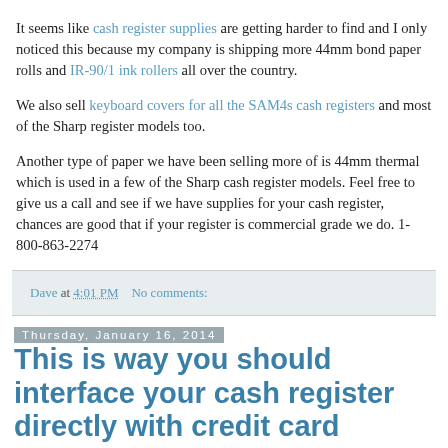It seems like cash register supplies are getting harder to find and I only noticed this because my company is shipping more 44mm bond paper rolls and IR-90/1 ink rollers all over the country.
We also sell keyboard covers for all the SAM4s cash registers and most of the Sharp register models too.
Another type of paper we have been selling more of is 44mm thermal which is used in a few of the Sharp cash register models. Feel free to give us a call and see if we have supplies for your cash register, chances are good that if your register is commercial grade we do. 1-800-863-2274
Dave at 4:01 PM   No comments:
Thursday, January 16, 2014
This is way you should interface your cash register directly with credit card